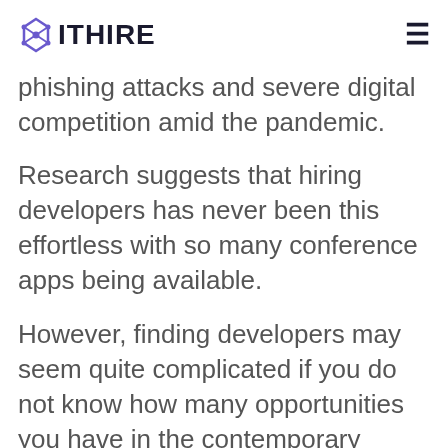ITHIRE
phishing attacks and severe digital competition amid the pandemic.
Research suggests that hiring developers has never been this effortless with so many conference apps being available.
However, finding developers may seem quite complicated if you do not know how many opportunities you have in the contemporary digital world. From social media to